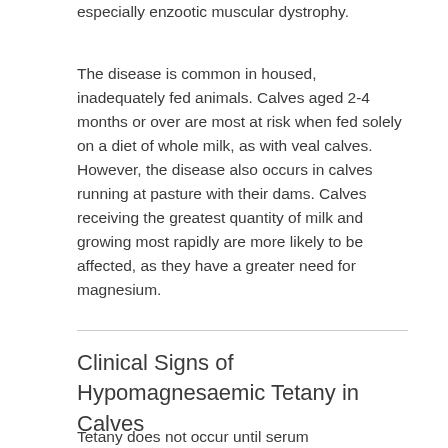especially enzootic muscular dystrophy.
The disease is common in housed, inadequately fed animals. Calves aged 2-4 months or over are most at risk when fed solely on a diet of whole milk, as with veal calves. However, the disease also occurs in calves running at pasture with their dams. Calves receiving the greatest quantity of milk and growing most rapidly are more likely to be affected, as they have a greater need for magnesium.
Clinical Signs of Hypomagnesaemic Tetany in Calves
Tetany does not occur until serum